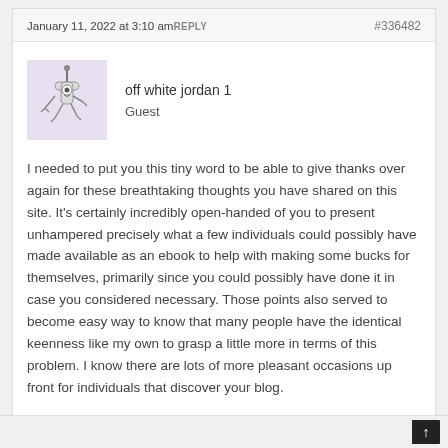January 11, 2022 at 3:10 am REPLY    #336482
[Figure (illustration): Avatar image of a cartoon robot/alien character on a light purple background]
off white jordan 1
Guest
I needed to put you this tiny word to be able to give thanks over again for these breathtaking thoughts you have shared on this site. It's certainly incredibly open-handed of you to present unhampered precisely what a few individuals could possibly have made available as an ebook to help with making some bucks for themselves, primarily since you could possibly have done it in case you considered necessary. Those points also served to become easy way to know that many people have the identical keenness like my own to grasp a little more in terms of this problem. I know there are lots of more pleasant occasions up front for individuals that discover your blog.
↑